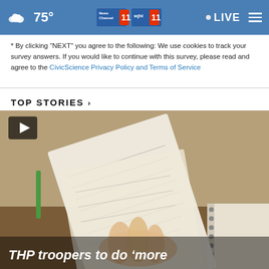75° News Channel 11 wjhl 11 LIVE
* By clicking "NEXT" you agree to the following: We use cookies to track your survey answers. If you would like to continue with this survey, please read and agree to the CivicScience Privacy Policy and Terms of Service
TOP STORIES >
[Figure (photo): Video thumbnail showing a person's hand flipping through a stack of papers/documents, with a spiral notebook visible in the background. A play button icon is in the upper left corner.]
THP troopers to do 'more